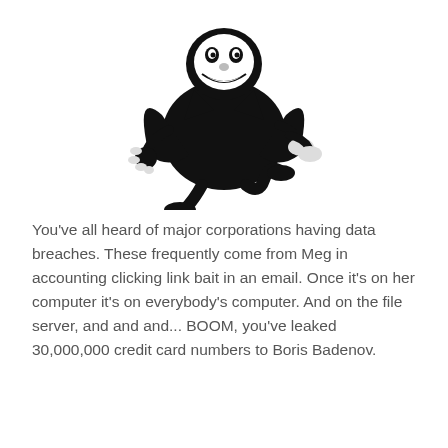[Figure (illustration): Black and white cartoon illustration of Boris Badenov (a villain character), a short sinister-looking man in a black cape with a wide grin, rubbing his hands together and lifting one leg as if sneaking.]
You've all heard of major corporations having data breaches. These frequently come from Meg in accounting clicking link bait in an email. Once it's on her computer it's on everybody's computer.  And on the file server, and and and... BOOM, you've leaked 30,000,000 credit card numbers to Boris Badenov.